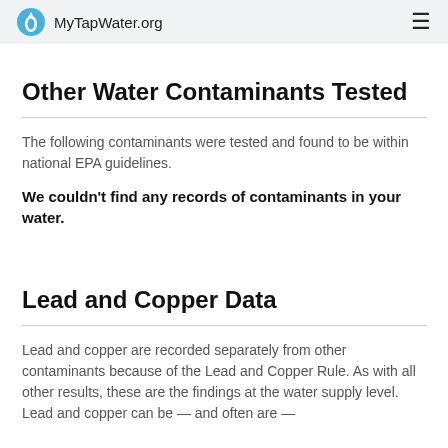MyTapWater.org
Other Water Contaminants Tested
The following contaminants were tested and found to be within national EPA guidelines.
We couldn't find any records of contaminants in your water.
Lead and Copper Data
Lead and copper are recorded separately from other contaminants because of the Lead and Copper Rule. As with all other results, these are the findings at the water supply level. Lead and copper can be — and often are —